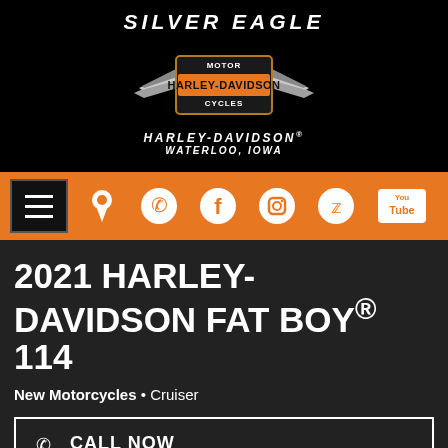[Figure (logo): Silver Eagle Harley-Davidson logo with wings and shield emblem. Text: SILVER EAGLE, HARLEY-DAVIDSON, WATERLOO, IOWA]
[Figure (screenshot): Orange navigation bar with hamburger menu, location pin, phone, Facebook, Instagram, Twitter, YouTube icons]
2021 HARLEY-DAVIDSON FAT BOY® 114
New Motorcycles • Cruiser
CALL NOW
MSRP $19,999